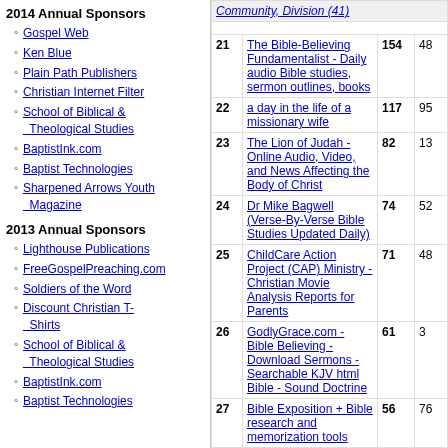2014 Annual Sponsors
Gospel Web
Ken Blue
Plain Path Publishers
Christian Internet Filter
School of Biblical & Theological Studies
BaptistInk.com
Baptist Technologies
Sharpened Arrows Youth Magazine
2013 Annual Sponsors
Lighthouse Publications
FreeGospelPreaching.com
Soldiers of the Word
Discount Christian T-Shirts
School of Biblical & Theological Studies
BaptistInk.com
Baptist Technologies
| # | Name | Hits |  |
| --- | --- | --- | --- |
| 21 | The Bible-Believing Fundamentalist - Daily audio Bible studies, sermon outlines, books | 154 | 48 |
| 22 | a day in the life of a missionary wife | 117 | 95 |
| 23 | The Lion of Judah - Online Audio, Video, and News Affecting the Body of Christ | 82 | 13 |
| 24 | Dr Mike Bagwell (Verse-By-Verse Bible Studies Updated Daily) | 74 | 52 |
| 25 | ChildCare Action Project (CAP) Ministry - Christian Movie Analysis Reports for Parents | 71 | 48 |
| 26 | GodlyGrace.com - Bible Believing - Download Sermons - Searchable KJV html Bible - Sound Doctrine | 61 | 3 |
| 27 | Bible Exposition + Bible research and memorization tools | 56 | 76 |
| 28 | FUNDAMENTAL BAPTIST BOOKS -- THE KING JAMES BIBLE BOOKSTORE formerly Faith Music and Books 5.00 stars | 55 | 92 |
| 29 | Cobblestone Road Ministries - Christian Apologetics, Bible Prophecy, Many Resources and Links | 54 | 53 |
| 30 | Learn the Bible 5.00 stars | 51 | 44 |
| 31 | Haven of Rest - IFB Ladies Message Board | 44 | 61 |